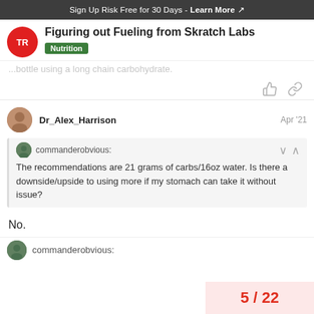Sign Up Risk Free for 30 Days - Learn More
Figuring out Fueling from Skratch Labs
Nutrition
...bottle using a long chain carbohydrate.
Dr_Alex_Harrison   Apr '21
commanderobvious:
The recommendations are 21 grams of carbs/16oz water. Is there a downside/upside to using more if my stomach can take it without issue?
No.
5 / 22
commanderobvious: